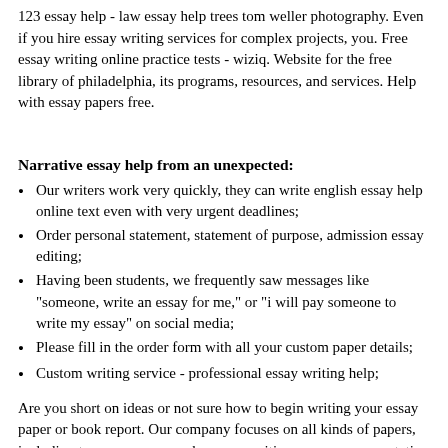123 essay help - law essay help trees tom weller photography. Even if you hire essay writing services for complex projects, you. Free essay writing online practice tests - wiziq. Website for the free library of philadelphia, its programs, resources, and services. Help with essay papers free.
Narrative essay help from an unexpected:
Our writers work very quickly, they can write english essay help online text even with very urgent deadlines;
Order personal statement, statement of purpose, admission essay editing;
Having been students, we frequently saw messages like "someone, write an essay for me," or "i will pay someone to write my essay" on social media;
Please fill in the order form with all your custom paper details;
Custom writing service - professional essay writing help;
Are you short on ideas or not sure how to begin writing your essay paper or book report. Our company focuses on all kinds of papers, including term paper, research paper, position papers, argumentative essay, lab report, literature review, thesis writing and dissertation writing. First of all, we do not overprice our services. Find top admission experts here - order your application essay. Here you'll find a great resource for custom content you can write both